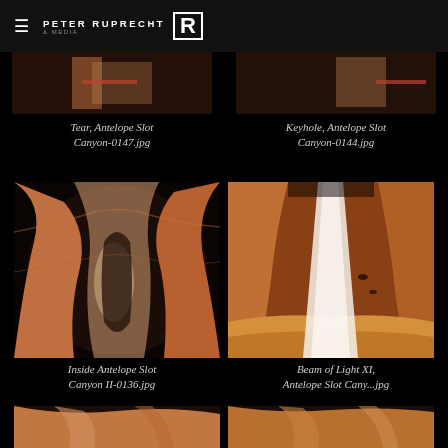PETER RUPRECHT — R logo
Tear, Antelope Slot Canyon-0147.jpg
Keyhole, Antelope Slot Canyon-0144.jpg
[Figure (photo): Inside Antelope Slot Canyon, warm orange-red sandstone walls with soft light]
[Figure (photo): Beam of Light XI, Antelope Slot Canyon, bright white beam of light cutting through orange sandstone]
Inside Antelope Slot Canyon II-0136.jpg
Beam of Light XI, Antelope Slot Cany...jpg
[Figure (photo): Partial view of Antelope Slot Canyon, left column, cropped at bottom]
[Figure (photo): Partial view of Antelope Slot Canyon, right column, cropped at bottom]